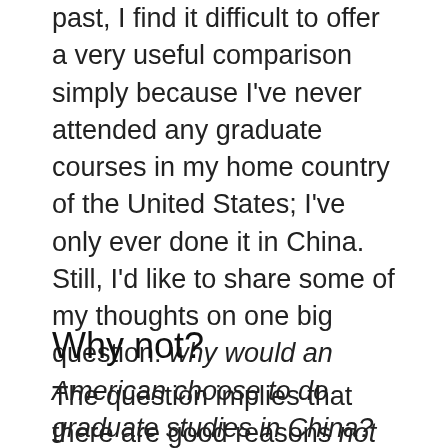past, I find it difficult to offer a very useful comparison simply because I've never attended any graduate courses in my home country of the United States; I've only ever done it in China. Still, I'd like to share some of my thoughts on one big question: why would an American choose to do graduate studies in China?
Why not?
The question implies that there are good reasons not to